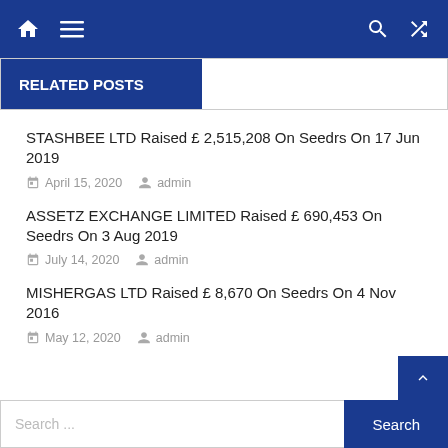Navigation bar with home, menu, search, and shuffle icons
RELATED POSTS
STASHBEE LTD Raised £ 2,515,208 On Seedrs On 17 Jun 2019
April 15, 2020  admin
ASSETZ EXCHANGE LIMITED Raised £ 690,453 On Seedrs On 3 Aug 2019
July 14, 2020  admin
MISHERGAS LTD Raised £ 8,670 On Seedrs On 4 Nov 2016
May 12, 2020  admin
Search ...  Search